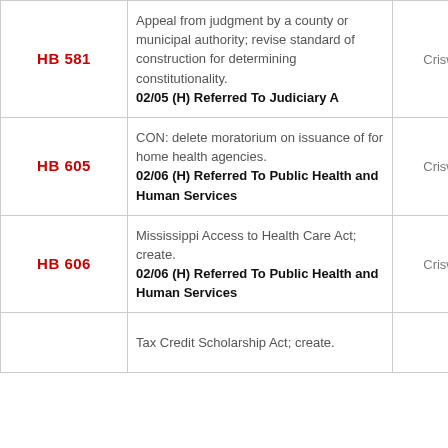| Bill | Description | Author |
| --- | --- | --- |
| HB 581 | Appeal from judgment by a county or municipal authority; revise standard of construction for determining constitutionality. 02/05 (H) Referred To Judiciary A | Criswell |
| HB 605 | CON: delete moratorium on issuance of for home health agencies. 02/06 (H) Referred To Public Health and Human Services | Criswell |
| HB 606 | Mississippi Access to Health Care Act; create. 02/06 (H) Referred To Public Health and Human Services | Criswell |
|  | Tax Credit Scholarship Act; create. |  |